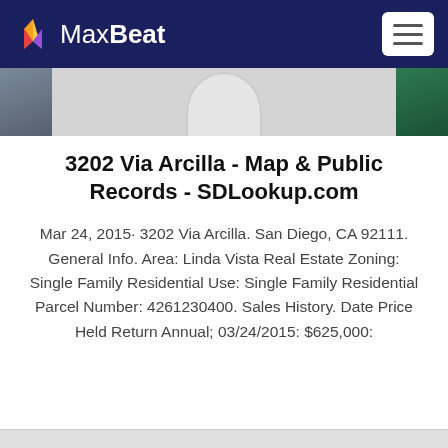MaxBeat
[Figure (photo): Image strip with two side photos and a partially visible circular center image]
3202 Via Arcilla - Map & Public Records - SDLookup.com
Mar 24, 2015· 3202 Via Arcilla. San Diego, CA 92111. General Info. Area: Linda Vista Real Estate Zoning: Single Family Residential Use: Single Family Residential Parcel Number: 4261230400. Sales History. Date Price Held Return Annual; 03/24/2015: $625,000: